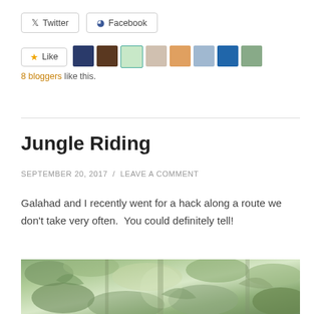[Figure (other): Twitter and Facebook share buttons]
[Figure (other): Like button with star icon and 8 blogger avatar thumbnails]
8 bloggers like this.
Jungle Riding
SEPTEMBER 20, 2017 / LEAVE A COMMENT
Galahad and I recently went for a hack along a route we don't take very often.  You could definitely tell!
[Figure (photo): Photo of dense jungle foliage/greenery along a riding trail]